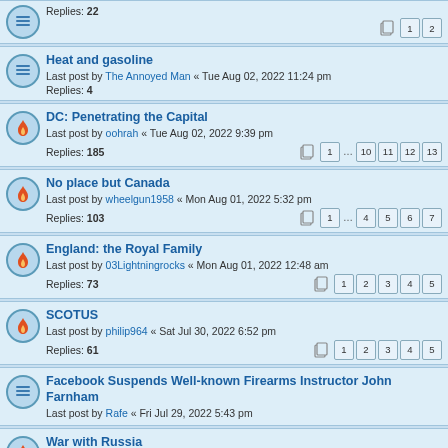Replies: 22 | pages: 1, 2
Heat and gasoline | Last post by The Annoyed Man « Tue Aug 02, 2022 11:24 pm | Replies: 4
DC: Penetrating the Capital | Last post by oohrah « Tue Aug 02, 2022 9:39 pm | Replies: 185 | pages: 1 ... 10 11 12 13
No place but Canada | Last post by wheelgun1958 « Mon Aug 01, 2022 5:32 pm | Replies: 103 | pages: 1 ... 4 5 6 7
England: the Royal Family | Last post by 03Lightningrocks « Mon Aug 01, 2022 12:48 am | Replies: 73 | pages: 1 2 3 4 5
SCOTUS | Last post by philip964 « Sat Jul 30, 2022 6:52 pm | Replies: 61 | pages: 1 2 3 4 5
Facebook Suspends Well-known Firearms Instructor John Farnham | Last post by Rafe « Fri Jul 29, 2022 5:43 pm
War with Russia | Last post by BigGuy « Fri Jul 29, 2022 4:51 pm | Replies: 74 | pages: 1 2 3 4 5
TX: Sheila Jackson Lee